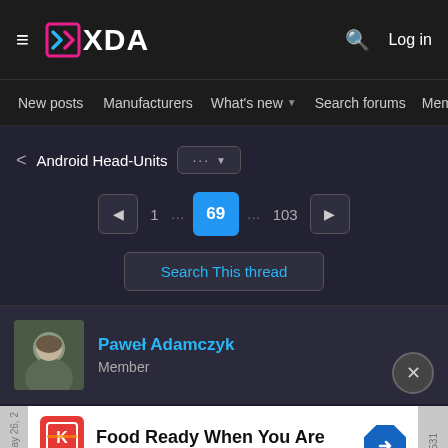XDA Forums — Android Head-Units, Page 69 of 103
New posts | Manufacturers | What's new | Search forums | Members
< Android Head-Units ... 1 ... 69 ... 103
Search This thread
Paweł Adamczyk
Member
[Figure (screenshot): Advertisement: Food Ready When You Are — Circle K]
May 26 ... #4,531
qidd s...